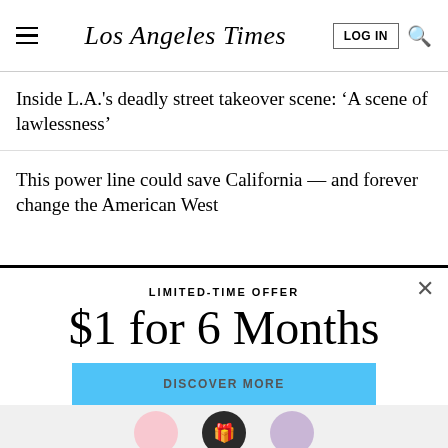Los Angeles Times
Inside L.A.'s deadly street takeover scene: ‘A scene of lawlessness’
This power line could save California — and forever change the American West
LIMITED-TIME OFFER
$1 for 6 Months
DISCOVER MORE
By continuing to use our site, you agree to our Terms of Service and Privacy Policy. You can learn more about how we use cookies by reviewing our Privacy Policy. Close